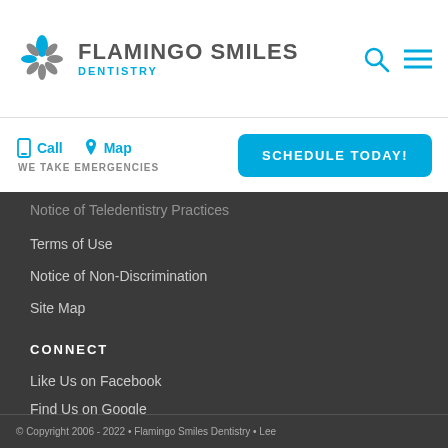[Figure (logo): Flamingo Smiles Dentistry logo with starburst icon]
FLAMINGO SMILES DENTISTRY
Call   Map   WE TAKE EMERGENCIES   SCHEDULE TODAY!
Notice of Teledentistry Practices
Terms of Use
Notice of Non-Discrimination
Site Map
CONNECT
Like Us on Facebook
Find Us on Google
© Copyright 2006 - 2022 • Flamingo Smiles Dentistry • Lee